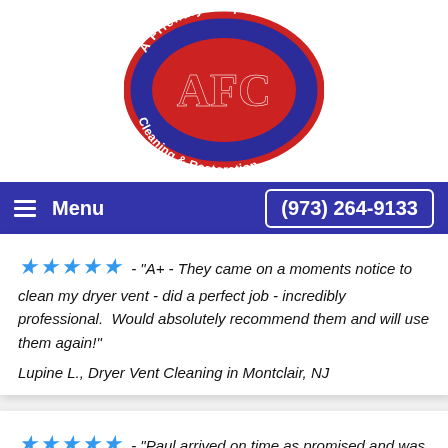[Figure (logo): A Friendly Carpet AFC Cleaning & Restoration oval logo with dark blue/purple background, red oval border, and red AFC letters in center]
[Figure (infographic): Navigation bar with dark blue background, hamburger menu icon, Menu text, and phone number (973) 264-9133 in white bordered button]
★★★★★ - "A+ - They came on a moments notice to clean my dryer vent - did a perfect job - incredibly professional.  Would absolutely recommend them and will use them again!"
Lupine L., Dryer Vent Cleaning in Montclair, NJ
★★★★★ - "Paul arrived on time as promised and was very thorough with his cleaning of our couches